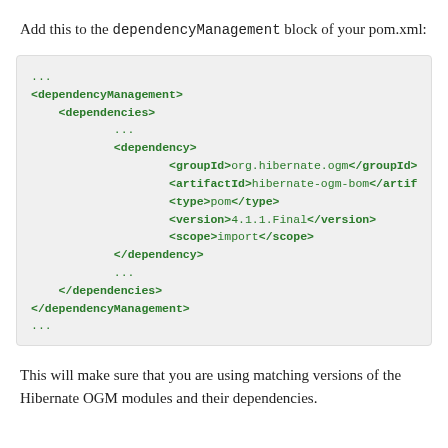Add this to the dependencyManagement block of your pom.xml:
...
<dependencyManagement>
    <dependencies>
            ...
            <dependency>
                    <groupId>org.hibernate.ogm</groupId>
                    <artifactId>hibernate-ogm-bom</artifactId>
                    <type>pom</type>
                    <version>4.1.1.Final</version>
                    <scope>import</scope>
            </dependency>
            ...
    </dependencies>
</dependencyManagement>
...
This will make sure that you are using matching versions of the Hibernate OGM modules and their dependencies.